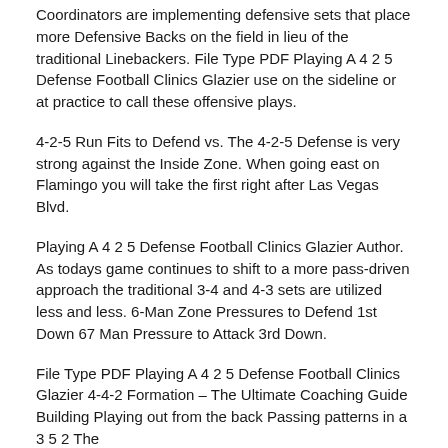Coordinators are implementing defensive sets that place more Defensive Backs on the field in lieu of the traditional Linebackers. File Type PDF Playing A 4 2 5 Defense Football Clinics Glazier use on the sideline or at practice to call these offensive plays.
4-2-5 Run Fits to Defend vs. The 4-2-5 Defense is very strong against the Inside Zone. When going east on Flamingo you will take the first right after Las Vegas Blvd.
Playing A 4 2 5 Defense Football Clinics Glazier Author. As todays game continues to shift to a more pass-driven approach the traditional 3-4 and 4-3 sets are utilized less and less. 6-Man Zone Pressures to Defend 1st Down 67 Man Pressure to Attack 3rd Down.
File Type PDF Playing A 4 2 5 Defense Football Clinics Glazier 4-4-2 Formation – The Ultimate Coaching Guide Building Playing out from the back Passing patterns in a 3 5 2 The